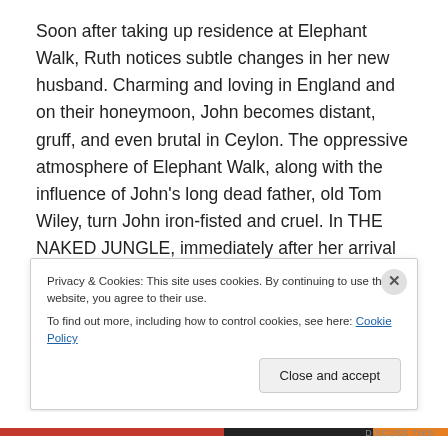Soon after taking up residence at Elephant Walk, Ruth notices subtle changes in her new husband.  Charming and loving in England and on their honeymoon, John becomes distant, gruff, and even brutal in Ceylon.  The oppressive atmosphere of Elephant Walk, along with the influence of John's long dead father, old Tom Wiley, turn John iron-fisted and cruel.  In THE NAKED JUNGLE, immediately after her arrival in Brazil, Joanna sees differences between Christopher's letters and his demeanor.  Intelligent and gentle during their correspondence, Christopher becomes insulting and
Privacy & Cookies: This site uses cookies. By continuing to use this website, you agree to their use.
To find out more, including how to control cookies, see here: Cookie Policy
Close and accept